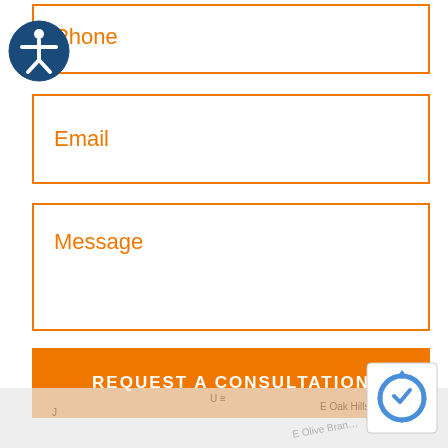Phone
Email
Message
REQUEST A CONSULTATION
[Figure (screenshot): reCAPTCHA logo icon in bottom right corner]
[Figure (map): Partial street map visible at bottom of page showing E Oak Hills and E Olive Branch road labels]